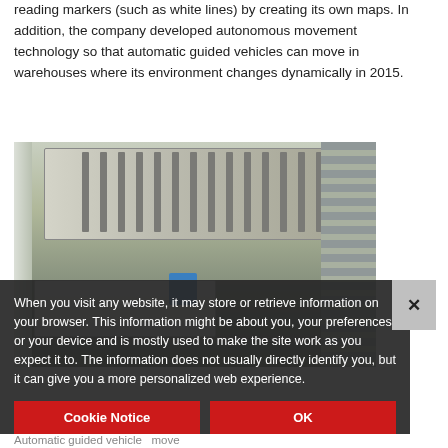reading markers (such as white lines) by creating its own maps. In addition, the company developed autonomous movement technology so that automatic guided vehicles can move in warehouses where its environment changes dynamically in 2015.
[Figure (photo): Photograph of an automated guided vehicle (AGV) with a conveyor roller top, white boxy body, and a blue sensor unit, photographed in a warehouse/industrial setting with roller racks visible on the right side.]
When you visit any website, it may store or retrieve information on your browser. This information might be about you, your preferences or your device and is mostly used to make the site work as you expect it to. The information does not usually directly identify you, but it can give you a more personalized web experience.
Cookie Notice   OK
Auto[matic] guid[ed vehicle] move